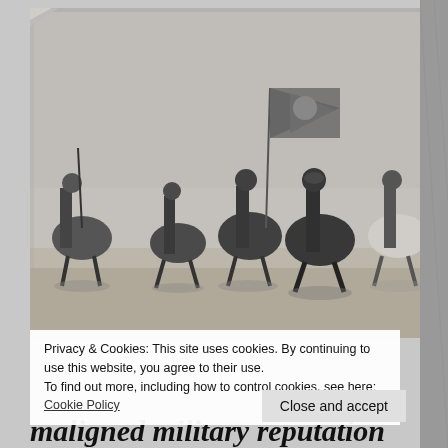[Figure (photo): Black and white historical photograph of soldiers on horseback, one carrying a flag, riding in formation. Appears to be a WWII-era military cavalry scene.]
Privacy & Cookies: This site uses cookies. By continuing to use this website, you agree to their use.
To find out more, including how to control cookies, see here: Cookie Policy
Close and accept
maligned military reputation